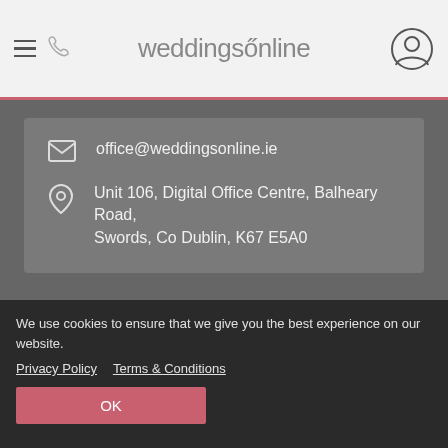weddingsonline
office@weddingsonline.ie
Unit 106, Digital Office Centre, Balheary Road, Swords, Co Dublin, K67 E5A0
About
Contact
Advertise
Press
Privacy
Terms & conditions
Supplier HQ
We use cookies to ensure that we give you the best experience on our website.
Privacy Policy   Terms & Conditions
OK